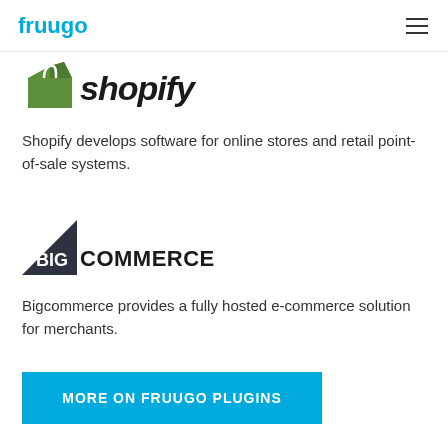fruugo
[Figure (logo): Shopify logo with green bag icon and italic 'shopify' text]
Shopify develops software for online stores and retail point-of-sale systems.
[Figure (logo): BigCommerce logo with dark triangle and 'BIGCOMMERCE' text]
Bigcommerce provides a fully hosted e-commerce solution for merchants.
MORE ON FRUUGO PLUGINS